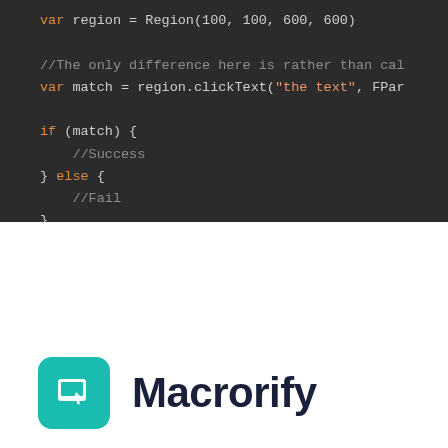[Figure (screenshot): Dark-themed code editor screenshot showing JavaScript code with var region assignment (cropped at top), a comment about difference, var match = region.clickText("the text", FPar...), an if (match) block with //Success comment, and an else block with //Fail comment.]
[Figure (logo): Macrorify logo: teal rounded square icon with a screenshot/cursor graphic, followed by bold dark text 'Macrorify']